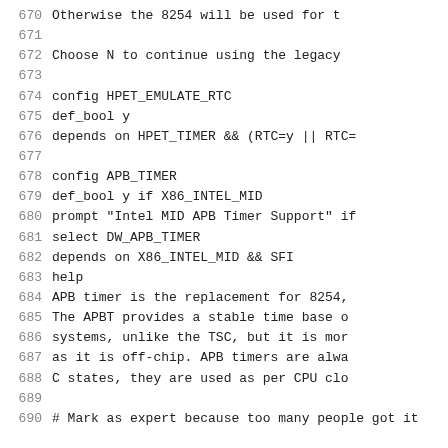670	Otherwise the 8254 will be used for t
671
672	    Choose N to continue using the legacy
673
674	config HPET_EMULATE_RTC
675		def_bool y
676		depends on HPET_TIMER && (RTC=y || RTC=
677
678	config APB_TIMER
679		def_bool y if X86_INTEL_MID
680		prompt "Intel MID APB Timer Support" if
681		select DW_APB_TIMER
682		depends on X86_INTEL_MID && SFI
683		help
684		  APB timer is the replacement for 8254,
685		  The APBT provides a stable time base o
686		  systems, unlike the TSC, but it is mor
687		  as it is off-chip. APB timers are alwa
688		  C states, they are used as per CPU clo
689
690	# Mark as expert because too many people got it